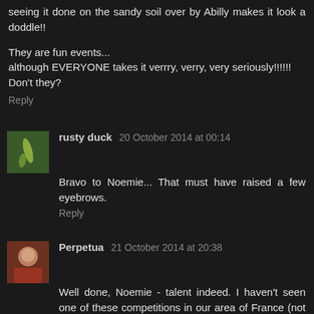seeing it done on the sandy soil over by Abilly makes it look a doddle!!
They are fun events... although EVERYONE takes it verrry, verry, very seriously!!!!!! Don't they?
Reply
rusty duck  20 October 2014 at 00:14
Bravo to Noemie... That must have raised a few eyebrows.
Reply
Perpetua  21 October 2014 at 20:38
Well done, Noemie - talent indeed. I haven't seen one of these competitions in our area of France (not enough arable, I think), but enjoy the demonstrations of traditional horse-drawn ploughing we get at some of the village fetes.